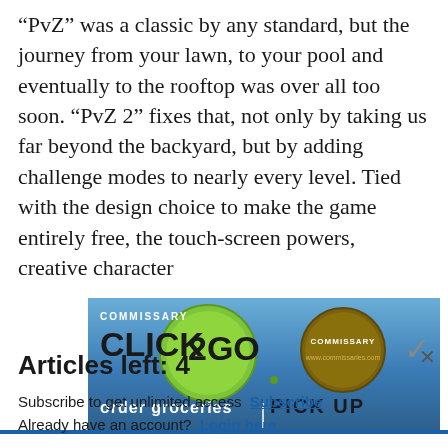“PvZ” was a classic by any standard, but the journey from your lawn, to your pool and eventually to the rooftop was over all too soon. “PvZ 2” fixes that, not only by taking us far beyond the backyard, but by adding challenge modes to nearly every level. Tied with the design choice to make the game entirely free, the touch-screen powers, creative character
[Figure (screenshot): Advertisement banner for Commissary Click2Go grocery ordering and pickup service, showing logos and partial text 'order groceries | PICK UP']
Articles left: 4
Subscribe to get unlimited access  Subscribe
Already have an account?  Login here